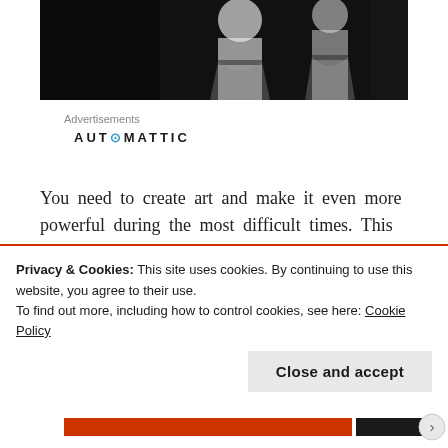[Figure (photo): Black and white photograph of two people, partially visible, one in a white shirt]
Advertisements
AUTOMATTIC
You need to create art and make it even more powerful during the most difficult times. This quote
Privacy & Cookies: This site uses cookies. By continuing to use this website, you agree to their use.
To find out more, including how to control cookies, see here: Cookie Policy
Close and accept